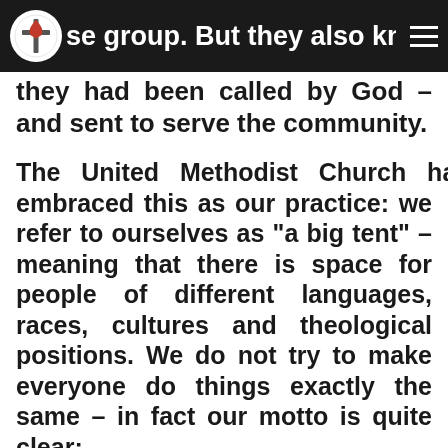se group. But they also knew th
they had been called by God – and sent to serve the community.
The United Methodist Church has embraced this as our practice: we refer to ourselves as “a big tent” – meaning that there is space for people of different languages, races, cultures and theological positions. We do not try to make everyone do things exactly the same – in fact our motto is quite clear:
“Open hearts / open minds / open doors”
Everyone is welcome – the thing that